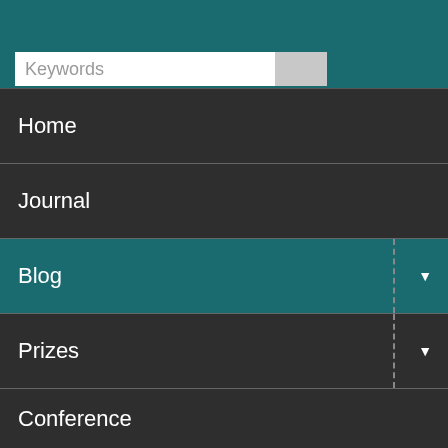[Figure (screenshot): Navigation menu UI with teal header, search bar, and dark-themed menu items: Home, Journal, Blog (active/highlighted in teal), Prizes, Conference, Membership, Officers, Archive]
Home
Journal
Blog
Prizes
Conference
Membership
Officers
Archive